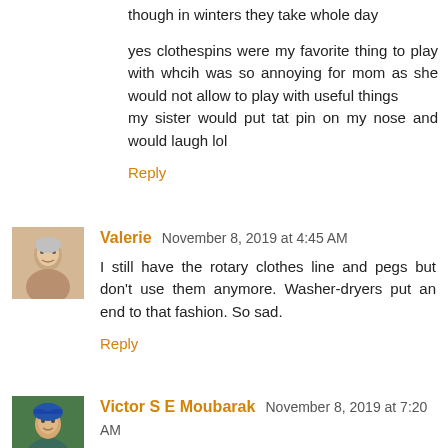though in winters they take whole day
yes clothespins were my favorite thing to play with whcih was so annoying for mom as she would not allow to play with useful things
my sister would put tat pin on my nose and would laugh lol
Reply
Valerie  November 8, 2019 at 4:45 AM
I still have the rotary clothes line and pegs but don't use them anymore. Washer-dryers put an end to that fashion. So sad.
Reply
Victor S E Moubarak  November 8, 2019 at 7:20 AM
In the UK it is illegal to have clotheslines in some areas if the washing can be seen from the street. OK if you have your own secluded back garden.